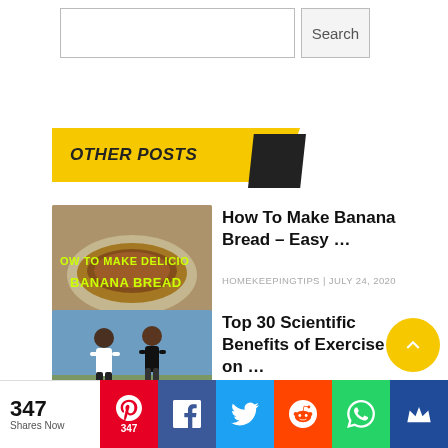[Figure (screenshot): Search input box and Search button]
OTHER POSTS
[Figure (photo): Thumbnail image of banana bread with text 'HOW TO MAKE DELICIO BANANA BREAD']
How To Make Banana Bread – Easy …
HOMEKEEPINGTIPS | JULY 24, 2020
[Figure (photo): Thumbnail image of two people running outdoors]
Top 30 Scientific Benefits of Exercise on …
HOMEKEEPINGTIPS | MAY 25, 2022
[Figure (infographic): Social sharing bar with counts: 347 Shares Now, Pinterest 347, Facebook, Twitter, Reddit, WhatsApp, Mix]